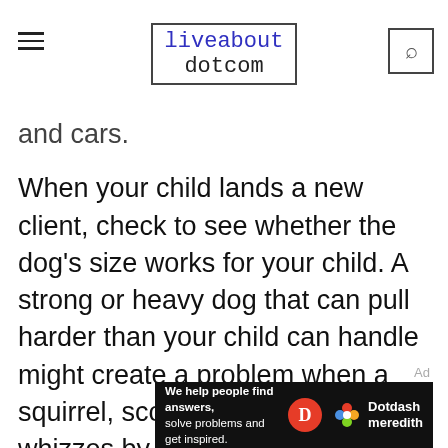liveabout dotcom
and cars.
When your child lands a new client, check to see whether the dog's size works for your child. A strong or heavy dog that can pull harder than your child can handle might create a problem when a squirrel, scooter, or skateboarder whizzes by.
A child who walks dogs daily can't just call in sick. Fido will still need to get his walk in. Make sure your child has a friend or sibling lined up for emergencies, or you might be stuck walking the dog.
[Figure (other): Dotdash Meredith advertisement banner: 'We help people find answers, solve problems and get inspired.' with Dotdash Meredith logo]